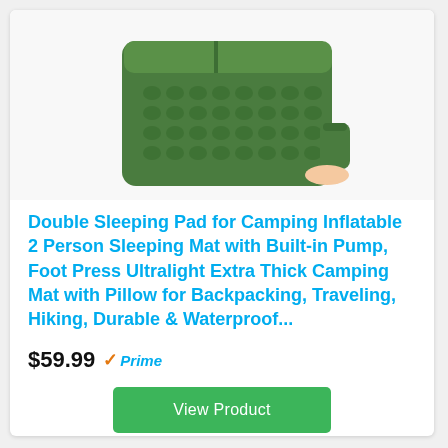[Figure (photo): Green inflatable double sleeping pad/mat with bubble texture and integrated pillow, shown alongside a small green stuff sack being held in a hand, on white background.]
Double Sleeping Pad for Camping Inflatable 2 Person Sleeping Mat with Built-in Pump, Foot Press Ultralight Extra Thick Camping Mat with Pillow for Backpacking, Traveling, Hiking, Durable & Waterproof...
$59.99 ✓Prime
View Product